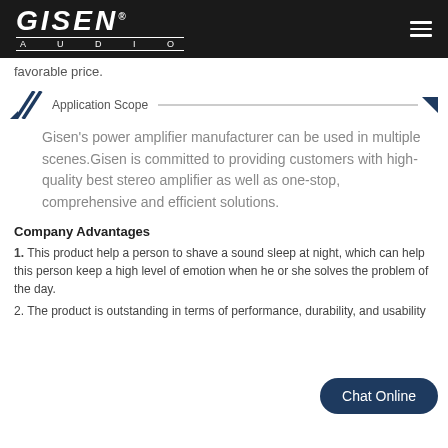GISEN® AUDIO
favorable price.
Application Scope
Gisen's power amplifier manufacturer can be used in multiple scenes.Gisen is committed to providing customers with high-quality best stereo amplifier as well as one-stop, comprehensive and efficient solutions.
Company Advantages
1. This product help a person to shave a sound sleep at night, which can help this person keep a high level of emotion when he or she solves the problem of the day.
2. The product is outstanding in terms of performance, durability, and usability